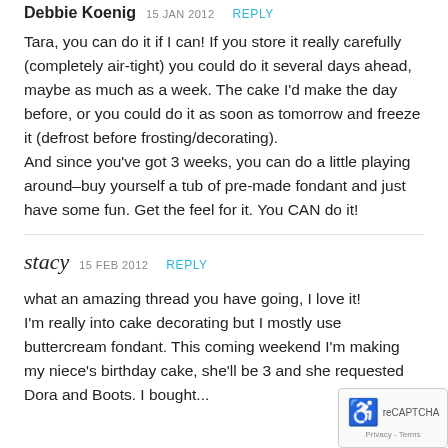Debbie Koenig 15 JAN 2012 REPLY
Tara, you can do it if I can! If you store it really carefully (completely air-tight) you could do it several days ahead, maybe as much as a week. The cake I'd make the day before, or you could do it as soon as tomorrow and freeze it (defrost before frosting/decorating).
And since you've got 3 weeks, you can do a little playing around–buy yourself a tub of pre-made fondant and just have some fun. Get the feel for it. You CAN do it!
stacy 15 FEB 2012 REPLY
what an amazing thread you have going, I love it! I'm really into cake decorating but I mostly use buttercream fondant. This coming weekend I'm making my niece's birthday cake, she'll be 3 and she requested Dora and Boots. I bought...